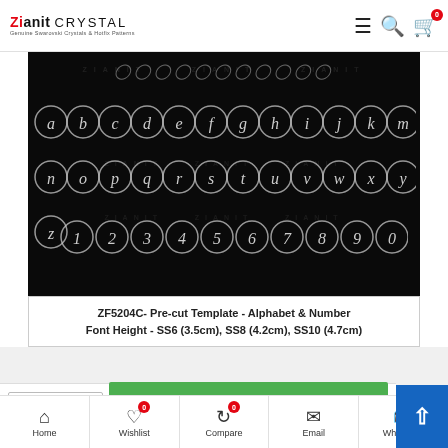Zianit Crystal — Genuine Swarovski Crystals & Hotfix Patterns
[Figure (photo): Product image on black background showing circled alphabet letters a-m, n-z, and numbers 1-9 arranged in rows, with a white label box below reading: ZF5204C- Pre-cut Template - Alphabet & Number Font Height - SS6 (3.5cm), SS8 (4.2cm), SS10 (4.7cm)]
ZF5204C- Pre-cut Template - Alphabet & Number Font Height - SS6 (3.5cm), SS8 (4.2cm), SS10 (4.7cm)
ZF5204C
FILTER PRODUCTS
ZF5204C Rhinestone Font Pre-Cut...
Home | Wishlist 0 | Compare 0 | Email | WhatsApp